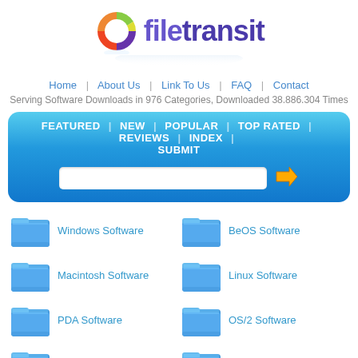[Figure (logo): FileTransit logo with colorful donut ring icon and purple text 'filetransit']
Home | About Us | Link To Us | FAQ | Contact
Serving Software Downloads in 976 Categories, Downloaded 38.886.304 Times
FEATURED | NEW | POPULAR | TOP RATED | REVIEWS | INDEX | SUBMIT
Windows Software
BeOS Software
Macintosh Software
Linux Software
PDA Software
OS/2 Software
Mobile Software
Scripts